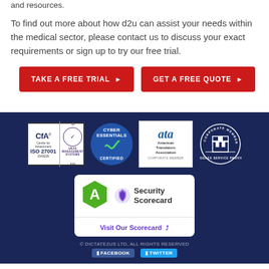and resources.
To find out more about how d2u can assist your needs within the medical sector, please contact us to discuss your exact requirements or sign up to try our free trial.
TAKE A FREE TRIAL ▶
GET A FREE QUOTE ▶
[Figure (logo): CfA Centre for Assessment ISO 27001 UKAS Management Systems badge with number 1543235 and 8128]
[Figure (logo): Cyber Essentials Certified circular badge]
[Figure (logo): ata American Translators Association Corporate Member badge]
[Figure (logo): ITI Corporate Member Language Service Provider circular badge]
[Figure (logo): Security Scorecard widget showing grade A and Visit Our Scorecard link]
© DICTATE2US LTD, ALL RIGHTS RESERVED
FACEBOOK  TWITTER